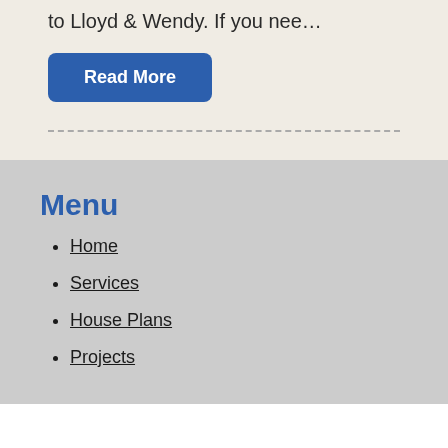to Lloyd & Wendy. If you nee…
Read More
Menu
Home
Services
House Plans
Projects